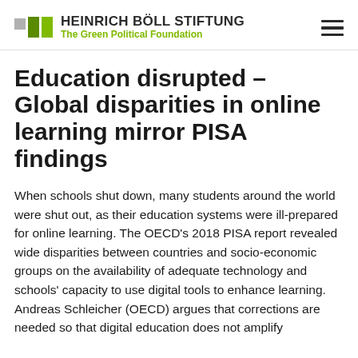HEINRICH BÖLL STIFTUNG The Green Political Foundation
Education disrupted – Global disparities in online learning mirror PISA findings
When schools shut down, many students around the world were shut out, as their education systems were ill-prepared for online learning. The OECD's 2018 PISA report revealed wide disparities between countries and socio-economic groups on the availability of adequate technology and schools' capacity to use digital tools to enhance learning. Andreas Schleicher (OECD) argues that corrections are needed so that digital education does not amplify